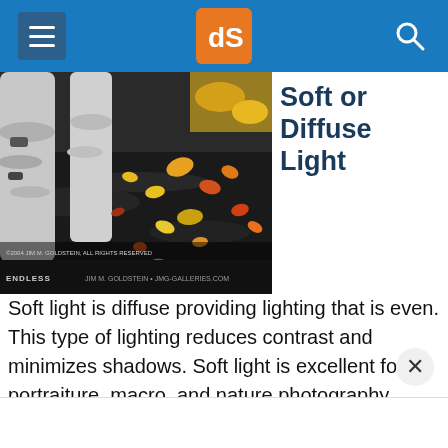dPS
[Figure (photo): Nature photograph showing autumn leaves on dark ground with white birch tree trunks. Titled 'Endless' by Jim M. Goldstein, jmg-galleries.com. Copyright 2004 Jim M. Goldstein, All Rights Reserved.]
Soft or Diffuse Light
Soft light is diffuse providing lighting that is even. This type of lighting reduces contrast and minimizes shadows. Soft light is excellent for portraiture, macro, and nature photography.